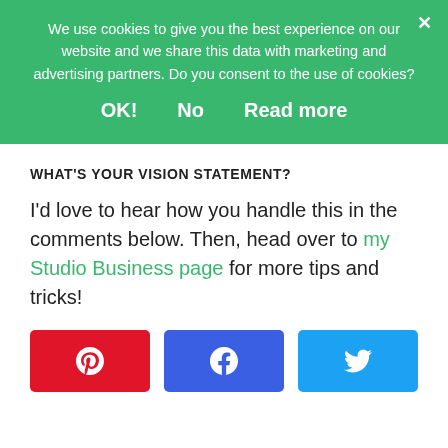We use cookies to give you the best experience on our website and we share this data with marketing and advertising partners. Do you consent to the use of cookies?
OK!   No   Read more
WHAT'S YOUR VISION STATEMENT?
I'd love to hear how you handle this in the comments below. Then, head over to my Studio Business page for more tips and tricks!
[Figure (infographic): Three social share buttons: Pinterest (red), Facebook (blue), Twitter (light blue), each with their respective icons]